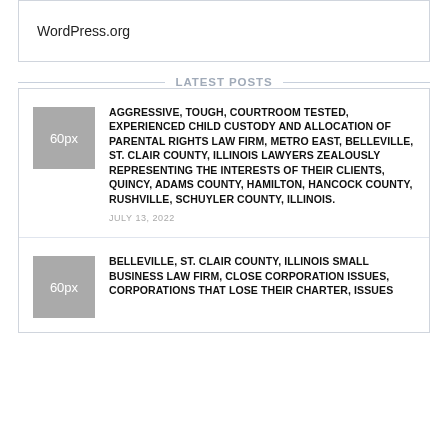WordPress.org
LATEST POSTS
AGGRESSIVE, TOUGH, COURTROOM TESTED, EXPERIENCED CHILD CUSTODY AND ALLOCATION OF PARENTAL RIGHTS LAW FIRM, METRO EAST, BELLEVILLE, ST. CLAIR COUNTY, ILLINOIS LAWYERS ZEALOUSLY REPRESENTING THE INTERESTS OF THEIR CLIENTS, QUINCY, ADAMS COUNTY, HAMILTON, HANCOCK COUNTY, RUSHVILLE, SCHUYLER COUNTY, ILLINOIS. JULY 13, 2022
BELLEVILLE, ST. CLAIR COUNTY, ILLINOIS SMALL BUSINESS LAW FIRM, CLOSE CORPORATION ISSUES, CORPORATIONS THAT LOSE THEIR CHARTER, ISSUES